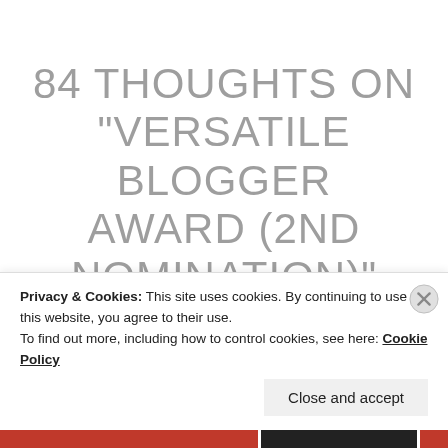84 THOUGHTS ON "VERSATILE BLOGGER AWARD (2ND NOMINATION)"
POSITIVESIDEOFCOIN
Privacy & Cookies: This site uses cookies. By continuing to use this website, you agree to their use.
To find out more, including how to control cookies, see here: Cookie Policy
Close and accept